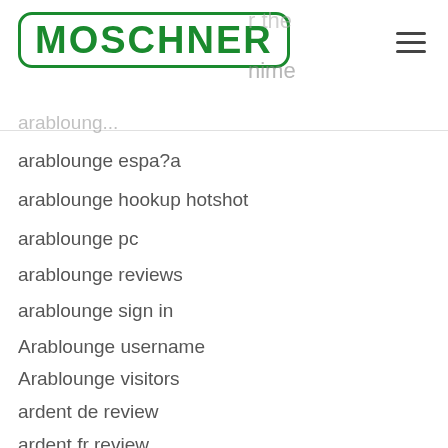MOSCHNER
arablounge espa?a
arablounge hookup hotshot
arablounge pc
arablounge reviews
arablounge sign in
Arablounge username
Arablounge visitors
ardent de review
ardent fr review
ardent review
ardent reviews
Ardent visitors